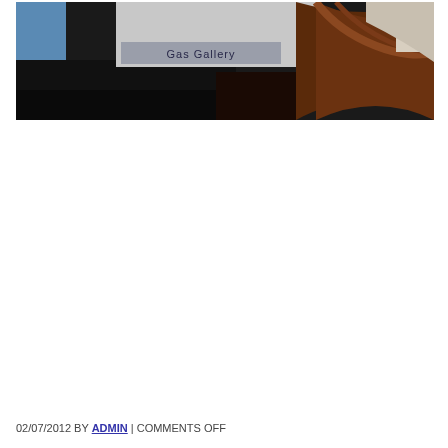[Figure (photo): Partial view of a room interior showing a monitor/screen displaying 'Gas Gallery' text, dark wooden architectural elements (curved molding), and a light-colored wall/ceiling in the upper portion of the image.]
02/07/2012 BY ADMIN | COMMENTS OFF